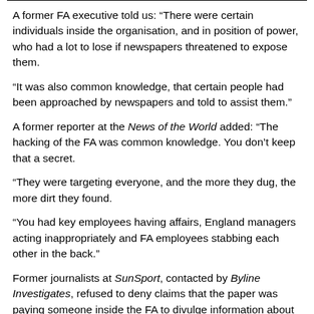A former FA executive told us: “There were certain individuals inside the organisation, and in position of power, who had a lot to lose if newspapers threatened to expose them.
“It was also common knowledge, that certain people had been approached by newspapers and told to assist them.”
A former reporter at the News of the World added: “The hacking of the FA was common knowledge. You don’t keep that a secret.
“They were targeting everyone, and the more they dug, the more dirt they found.
“You had key employees having affairs, England managers acting inappropriately and FA employees stabbing each other in the back.”
Former journalists at SunSport, contacted by Byline Investigates, refused to deny claims that the paper was paying someone inside the FA to divulge information about the organisation.
[Figure (other): Grey rectangle at the bottom of the page, partially visible.]